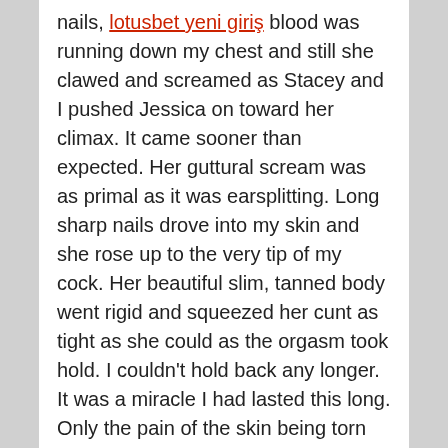nails, lotusbet yeni giriş blood was running down my chest and still she clawed and screamed as Stacey and I pushed Jessica on toward her climax. It came sooner than expected. Her guttural scream was as primal as it was earsplitting. Long sharp nails drove into my skin and she rose up to the very tip of my cock. Her beautiful slim, tanned body went rigid and squeezed her cunt as tight as she could as the orgasm took hold. I couldn't hold back any longer. It was a miracle I had lasted this long. Only the pain of the skin being torn off my shoulders had prolonged the inevitable. My climax was every bit as vocal and I drove my hips up to meet her. I didn't think I could cum so much in such a short space of time but some how I managed